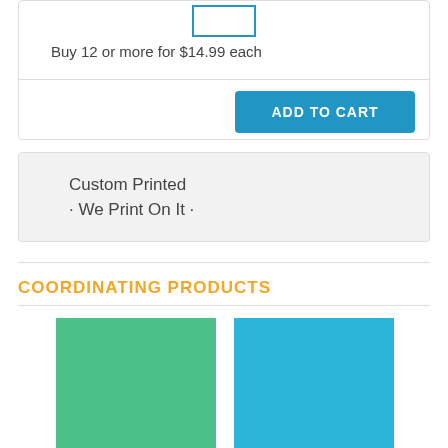Buy 12 or more for $14.99 each
[Figure (screenshot): Blue 'ADD TO CART' button]
Custom Printed
· We Print On It ·
COORDINATING PRODUCTS
[Figure (photo): Green product thumbnail image]
[Figure (photo): Blue product thumbnail image]